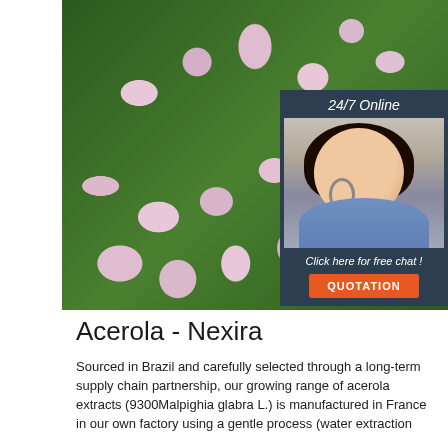[Figure (photo): Close-up photo of pink acerola flowers with green leaves in the background, overlaid with a customer service chat widget showing a female agent with headset, '24/7 Online' label, 'Click here for free chat!' text, and an orange 'QUOTATION' button.]
Acerola - Nexira
Sourced in Brazil and carefully selected through a long-term supply chain partnership, our growing range of acerola extracts (9300Malpighia glabra L.) is manufactured in France in our own factory using a gentle process (water extraction